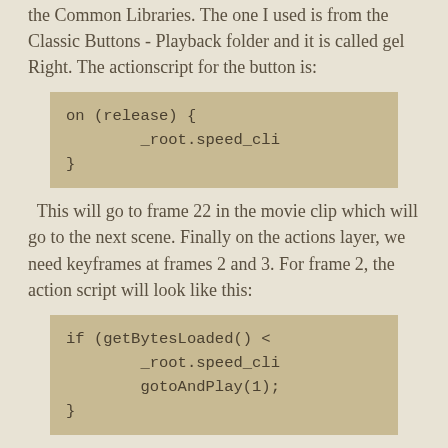the Common Libraries. The one I used is from the Classic Buttons - Playback folder and it is called gel Right. The actionscript for the button is:
This will go to frame 22 in the movie clip which will go to the next scene. Finally on the actions layer, we need keyframes at frames 2 and 3. For frame 2, the action script will look like this:
This compares the loaded bytes against the total bytes and creates a number which is rounded in increments of 1 up to 21. That